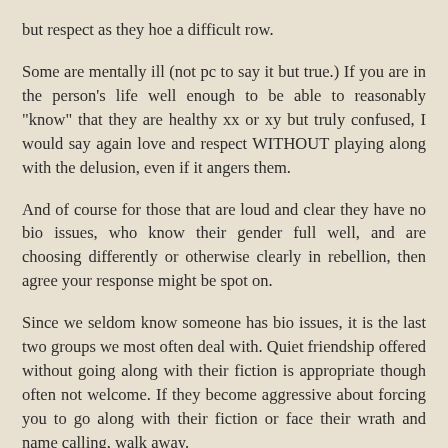but respect as they hoe a difficult row.
Some are mentally ill (not pc to say it but true.) If you are in the person's life well enough to be able to reasonably "know" that they are healthy xx or xy but truly confused, I would say again love and respect WITHOUT playing along with the delusion, even if it angers them.
And of course for those that are loud and clear they have no bio issues, who know their gender full well, and are choosing differently or otherwise clearly in rebellion, then agree your response might be spot on.
Since we seldom know someone has bio issues, it is the last two groups we most often deal with. Quiet friendship offered without going along with their fiction is appropriate though often not welcome. If they become aggressive about forcing you to go along with their fiction or face their wrath and name calling, walk away.
I tend to be amazed we are called by one side to go along with the delusion or lie, and by the other side to cater to